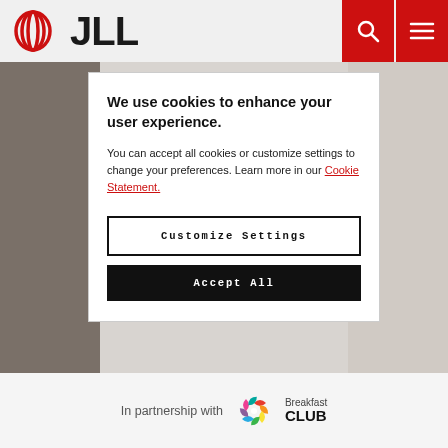JLL
[Figure (screenshot): Background photo of a child in a school/cafeteria setting]
We use cookies to enhance your user experience.
You can accept all cookies or customize settings to change your preferences. Learn more in our Cookie Statement.
Customize Settings
Accept All
In partnership with Breakfast CLUB